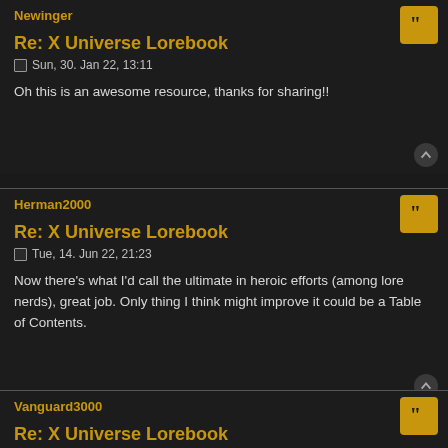Newinger
Re: X Universe Lorebook
Sun, 30. Jan 22, 13:11
Oh this is an awesome resource, thanks for sharing!!
Herman2000
Re: X Universe Lorebook
Tue, 14. Jun 22, 21:23
Now there's what I'd call the ultimate in heroic efforts (among lore nerds), great job. Only thing I think might improve it could be a Table of Contents.
Vanguard3000
Re: X Universe Lorebook
Sat, 18. Jun 22, 21:11